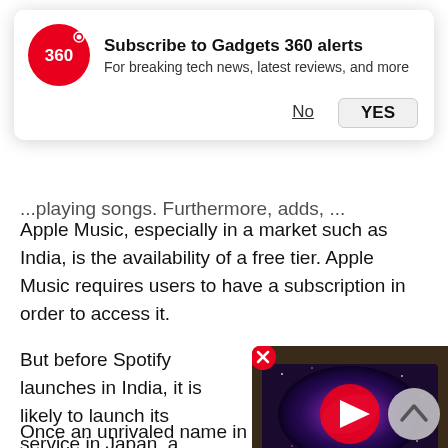[Figure (infographic): Gadgets 360 subscribe to alerts notification banner with logo, title, subtitle, No and YES buttons]
Apple Music, especially in a market such as India, is the availability of a free tier. Apple Music requires users to have a subscription in order to access it.
But before Spotify launches in India, it is likely to launch its service in Japan, a place that still utilising CDs for playing songs. Furthermore, adds, Spotify has quietly begun hiring for the role of head of consumer marketing and communications.
[Figure (screenshot): Video thumbnail showing a TV with a galaxy/space image on screen, with a red play button overlay]
Once an unrivaled name in the music streaming business, Spotify now faces stiff competition from Apple...